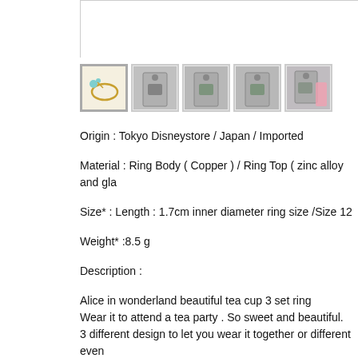[Figure (photo): Top white/gray bar area - product image display area]
[Figure (photo): Five product thumbnail images in a row: ring with turquoise stone, two packaging tags, two more packaging tags]
Origin : Tokyo Disneystore / Japan / Imported
Material : Ring Body ( Copper ) / Ring Top ( zinc alloy and gla
Size* : Length : 1.7cm inner diameter ring size /Size 12
Weight* :8.5 g
Description :
Alice in wonderland beautiful tea cup 3 set ring
Wear it to attend a tea party . So sweet and beautiful.
3 different design to let you wear it together or different even
Be stylist , be cool and be sweet like a princess.A well detail